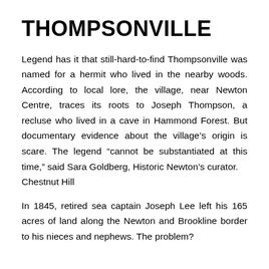THOMPSONVILLE
Legend has it that still-hard-to-find Thompsonville was named for a hermit who lived in the nearby woods. According to local lore, the village, near Newton Centre, traces its roots to Joseph Thompson, a recluse who lived in a cave in Hammond Forest. But documentary evidence about the village’s origin is scare. The legend “cannot be substantiated at this time,” said Sara Goldberg, Historic Newton’s curator.
Chestnut Hill
In 1845, retired sea captain Joseph Lee left his 165 acres of land along the Newton and Brookline border to his nieces and nephews. The problem?